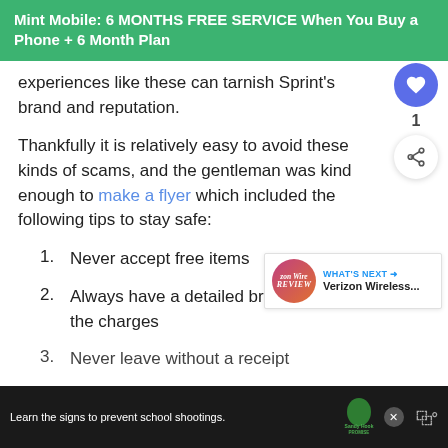Mint Mobile: 6 MONTHS FREE SERVICE When You Buy a Phone + 6 Month Plan
experiences like these can tarnish Sprint's brand and reputation.
Thankfully it is relatively easy to avoid these kinds of scams, and the gentleman was kind enough to make a flyer which included the following tips to stay safe:
1. Never accept free items
2. Always have a detailed breakdown of the charges
3. Never leave without a receipt
[Figure (screenshot): Social sharing sidebar with heart/like button (purple circle, count of 1) and share button]
[Figure (screenshot): What's Next widget showing Verizon Wireless review thumbnail]
[Figure (screenshot): Advertisement bar at bottom: Learn the signs to prevent school shootings. Sandy Hook Promise logo and close button]